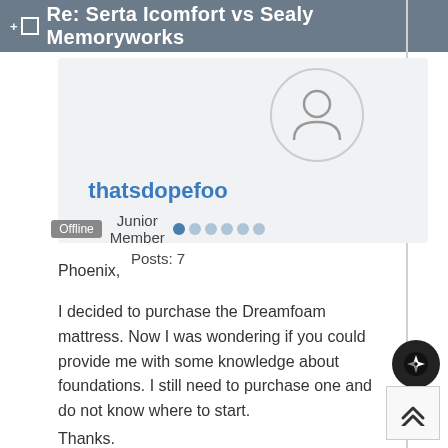Re: Serta Icomfort vs Sealy Memoryworks
thatsdopefoo
Offline  Junior Member
Posts: 7
Phoenix,
I decided to purchase the Dreamfoam mattress. Now I was wondering if you could provide me with some knowledge about foundations. I still need to purchase one and do not know where to start.
Thanks.